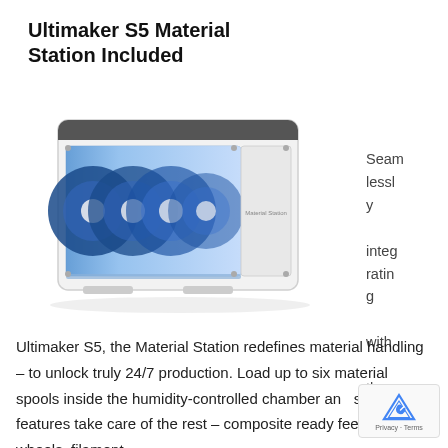Ultimaker S5 Material Station Included
[Figure (photo): Ultimaker S5 Material Station — a white box-shaped device with a transparent front panel showing six blue filament spools arranged horizontally inside a lit chamber. The unit has a clean industrial design with corner hardware.]
Seamlessly integrating with the Ultimaker S5, the Material Station redefines material handling – to unlock truly 24/7 production. Load up to six material spools inside the humidity-controlled chamber and smart features take care of the rest – composite ready feeder wheels, filament